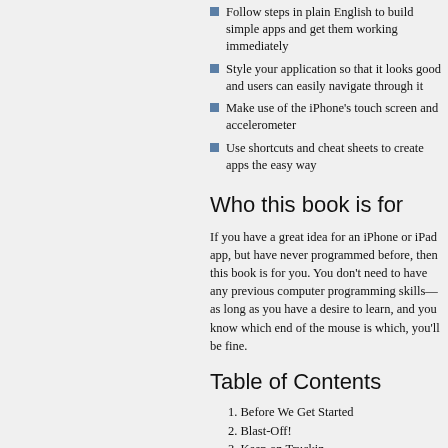Follow steps in plain English to build simple apps and get them working immediately
Style your application so that it looks good and users can easily navigate through it
Make use of the iPhone's touch screen and accelerometer
Use shortcuts and cheat sheets to create apps the easy way
Who this book is for
If you have a great idea for an iPhone or iPad app, but have never programmed before, then this book is for you. You don't need to have any previous computer programming skills—as long as you have a desire to learn, and you know which end of the mouse is which, you'll be fine.
Table of Contents
1. Before We Get Started
2. Blast-Off!
3. Keep on Truckin
4. Buttons and Labels with Multiple Graphics
5. Touches
6. Switches
7. Storyboards
8. Intro to MapKits
9. MapKit
10. iCLOUD